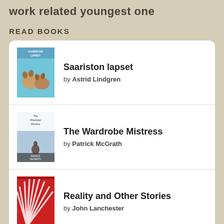work related youngest one
READ BOOKS
Saariston lapset by Astrid Lindgren
The Wardrobe Mistress by Patrick McGrath
Reality and Other Stories by John Lanchester
Shadow Scale